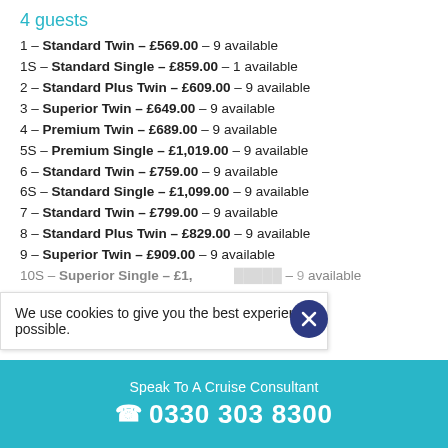4 guests
1 – Standard Twin – £569.00 – 9 available
1S – Standard Single – £859.00 – 1 available
2 – Standard Plus Twin – £609.00 – 9 available
3 – Superior Twin – £649.00 – 9 available
4 – Premium Twin – £689.00 – 9 available
5S – Premium Single – £1,019.00 – 9 available
6 – Standard Twin – £759.00 – 9 available
6S – Standard Single – £1,099.00 – 9 available
7 – Standard Twin – £799.00 – 9 available
8 – Standard Plus Twin – £829.00 – 9 available
9 – Superior Twin – £909.00 – 9 available
10S – Superior Single – £1,199.00 – 9 available
We use cookies to give you the best experience possible.
Speak To A Cruise Consultant
☎ 0330 303 8300